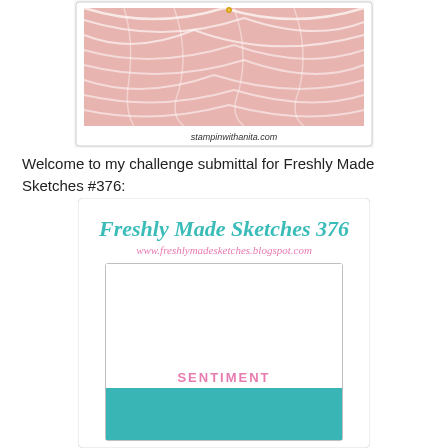[Figure (photo): Partial view of a card with pink and white marbled paper design and a watermark reading stampinwithanita.com]
Welcome to my challenge submittal for Freshly Made Sketches #376:
[Figure (infographic): Freshly Made Sketches 376 card sketch template showing a card layout with a large white area on top and a teal/turquoise colored band at the bottom with the word SENTIMENT in pink letters. Header reads 'Freshly Made Sketches 376' in teal script and 'www.freshlymadesketches.blogspot.com' in pink script.]